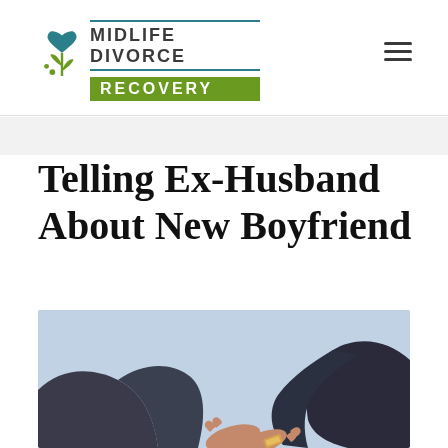MIDLIFE DIVORCE RECOVERY
Telling Ex-Husband About New Boyfriend
[Figure (photo): Two people holding hands against a light blue sky background, one person wearing a bracelet/watch on their wrist]